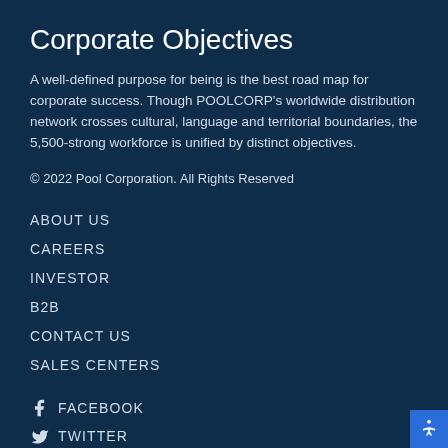Corporate Objectives
A well-defined purpose for being is the best road map for corporate success. Though POOLCORP’s worldwide distribution network crosses cultural, language and territorial boundaries, the 5,500-strong workforce is unified by distinct objectives.
© 2022 Pool Corporation. All Rights Reserved
ABOUT US
CAREERS
INVESTOR
B2B
CONTACT US
SALES CENTERS
FACEBOOK
TWITTER